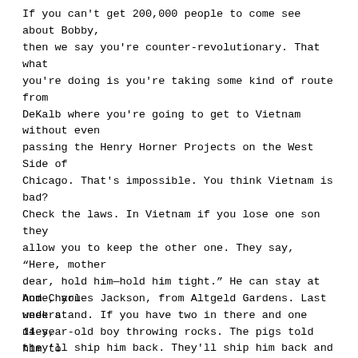If you can't get 200,000 people to come see about Bobby, then we say you're counter-revolutionary. That what you're doing is you're taking some kind of route from DeKalb where you're going to get to Vietnam without even passing the Henry Horner Projects on the West Side of Chicago. That's impossible. You think Vietnam is bad? Check the laws. In Vietnam if you lose one son they allow you to keep the other one. They say, "Here, mother dear, hold him—hold him tight." He can stay at home, you understand. If you have two in there and one dies, they'll ship him back. They'll ship him back and get him out of the war where there'll be no chance of him dying, because "Miss, this war is not going to take both of your sons." And then you're marchin' on this cruel war in Washington, all you radicals, and what about Mrs Soto, who lost two sons in one week? That proves to us through historical fact that Babylon is worse than Vietnam; we need to have some moratoriums on the black community in Babylon and all oppressed communities in Babylon.
And Charles Jackson, from Altgeld Gardens. Last week a 14-year-old boy throwing rocks. The pigs told him to halt and then they fired shots and she had him...